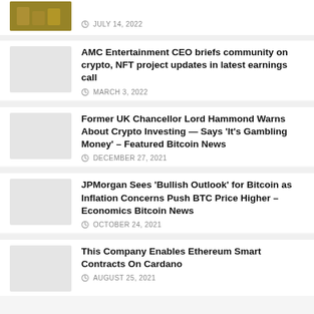JULY 14, 2022
AMC Entertainment CEO briefs community on crypto, NFT project updates in latest earnings call
MARCH 3, 2022
Former UK Chancellor Lord Hammond Warns About Crypto Investing — Says ‘It’s Gambling Money’ – Featured Bitcoin News
DECEMBER 27, 2021
JPMorgan Sees ‘Bullish Outlook’ for Bitcoin as Inflation Concerns Push BTC Price Higher – Economics Bitcoin News
OCTOBER 24, 2021
This Company Enables Ethereum Smart Contracts On Cardano
AUGUST 25, 2021